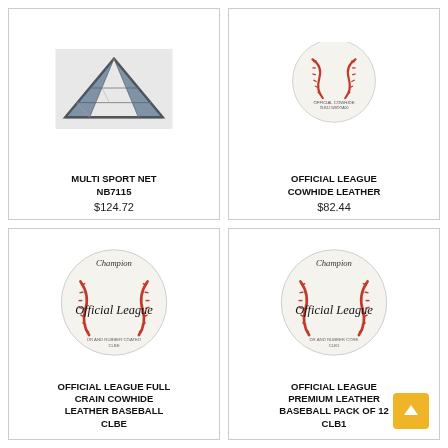[Figure (photo): Multi Sport Net product photo showing a tent/net structure]
MULTI SPORT NET NB7115
$124.72
[Figure (photo): Official League Cowhide Leather baseball product photo]
OFFICIAL LEAGUE COWHIDE LEATHER
$82.44
[Figure (photo): Official League Full Crain Cowhide Leather Baseball baseball product photo]
OFFICIAL LEAGUE FULL CRAIN COWHIDE LEATHER BASEBALL CLBE
[Figure (photo): Official League Premium Leather Baseball Pack of 12 baseball product photo]
OFFICIAL LEAGUE PREMIUM LEATHER BASEBALL PACK OF 12 CLB1